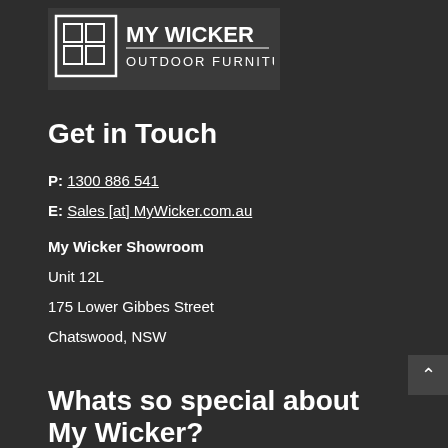[Figure (logo): My Wicker Outdoor Furniture logo on dark background, white text and icon]
Get in Touch
P: 1300 886 541
E: Sales [at] MyWicker.com.au
My Wicker Showroom
Unit 12L
175 Lower Gibbes Street
Chatswood, NSW
Whats so special about My Wicker?